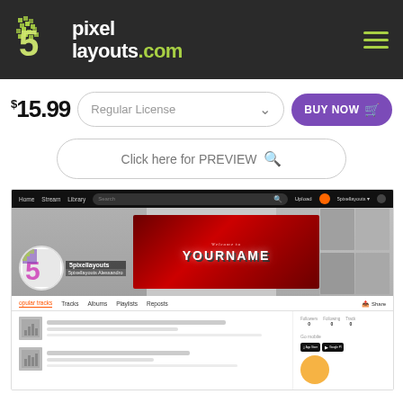[Figure (logo): 5pixellayouts.com logo with green pixel-art '5' icon on dark background header with hamburger menu]
$15.99
Regular License
BUY NOW
Click here for PREVIEW
[Figure (screenshot): Screenshot of a SoundCloud-style profile page for '5pixellayouts' with username '5pixellayouts Alessandro', a red YOURNAME banner, navigation tabs (opular tracks, Tracks, Albums, Playlists, Reposts), sidebar with Followers/Following/Tracks stats all showing 0, Go mobile section with App Store and Google Play buttons, and track listing area with placeholder thumbnails]